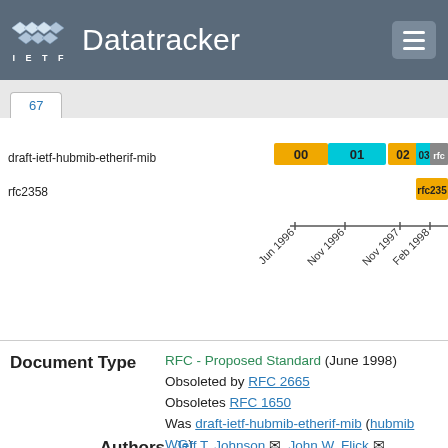IETF Datatracker
[Figure (other): Timeline showing draft-ietf-hubmib-etherif-mib versions 00, 01 (cyan), 02, 03, 04 (orange/yellow) and rfc2358, with date axis labels Jun 1996, Nov 1996, Nov 1997, Feb 1998]
Document Type: RFC - Proposed Standard (June 1998) Obsoleted by RFC 2665 Obsoletes RFC 1650 Was draft-ietf-hubmib-etherif-mib (hubmib WG)
Authors: Jeff T. Johnson, John W. Flick